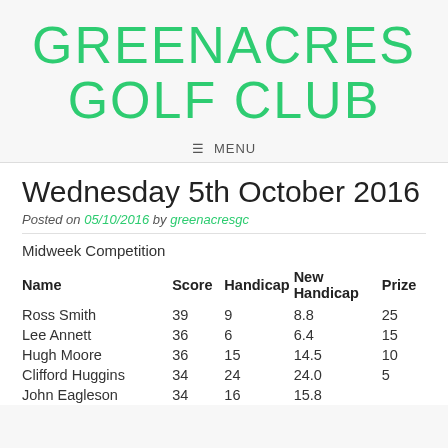GREENACRES GOLF CLUB
☰ MENU
Wednesday 5th October 2016
Posted on 05/10/2016 by greenacresgc
Midweek Competition
| Name | Score | Handicap | New Handicap | Prize |
| --- | --- | --- | --- | --- |
| Ross Smith | 39 | 9 | 8.8 | 25 |
| Lee Annett | 36 | 6 | 6.4 | 15 |
| Hugh Moore | 36 | 15 | 14.5 | 10 |
| Clifford Huggins | 34 | 24 | 24.0 | 5 |
| John Eagleson | 34 | 16 | 15.8 |  |